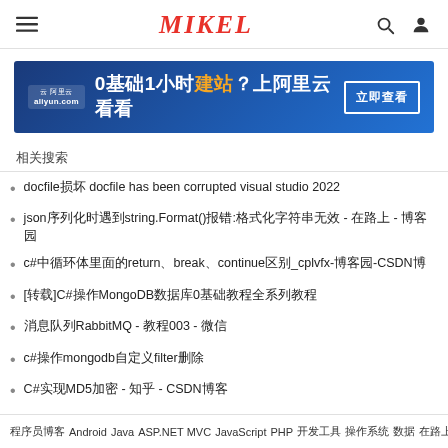≡   MIKEL   🔍  👤
[Figure (infographic): Alibaba Cloud advertisement banner: 云 阿里云 logo on left, text '0基础1小时建站？上阿里云看看', button '立即查看' on right, blue gradient background]
相关搜索
docfile损坏 docfile has been corrupted visual studio 2022
json序列化时遇到string.Format()报错:格式化字符串无效 - 在路上 - 博客园
c#中循环体里面的return、break、continue区别_cplvfx-博客园-CSDN博
[转载]C#操作MongoDB数据库0基础教程全系列教程
消息队列RabbitMQ - 教程003 - 微信
c#操作mongodb自定义filter删除
C#实现MD5加密 - 知乎 - CSDN博客
程序员博客  Android  Java  ASP.NET MVC  JavaScript  PHP  开发工具  操作系统  数据  在路上